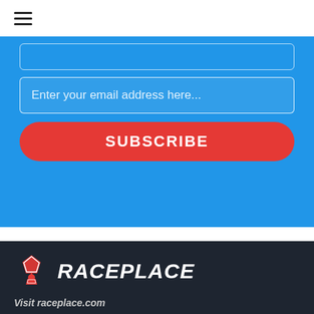[Figure (other): Hamburger menu icon (three horizontal lines)]
Enter your email address here...
SUBSCRIBE
[Figure (logo): RacePlace logo with red medal/trophy icon and white bold italic RACEPLACE text on dark background]
Visit raceplace.com